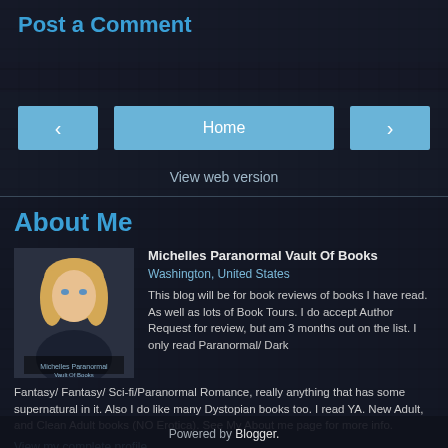Post a Comment
Home
View web version
About Me
Michelles Paranormal Vault Of Books
Washington, United States
This blog will be for book reviews of books I have read. As well as lots of Book Tours. I do accept Author Request for review, but am 3 months out on the list. I only read Paranormal/ Dark Fantasy/ Fantasy/ Sci-fi/Paranormal Romance, really anything that has some supernatural in it. Also I do like many Dystopian books too. I read YA. New Adult, and Clean Adult books (NO Erotica). See My About me page for more info.
View my complete profile
Powered by Blogger.